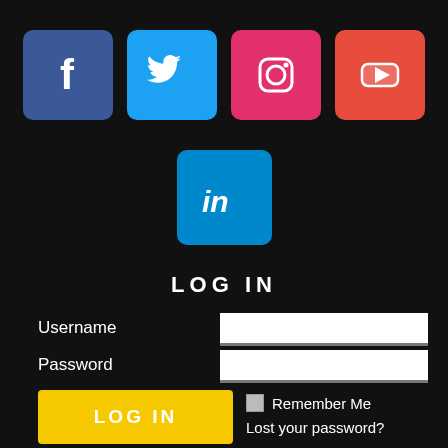[Figure (logo): Facebook icon - white f on blue rounded square]
[Figure (logo): Twitter icon - white bird on light blue rounded square]
[Figure (logo): Instagram icon - white camera outline on pink/magenta rounded square]
[Figure (logo): YouTube icon - white play button on red rounded square]
[Figure (logo): LinkedIn icon - white 'in' on blue rounded square]
LOG IN
Username
Password
LOG IN
Remember Me
Lost your password?